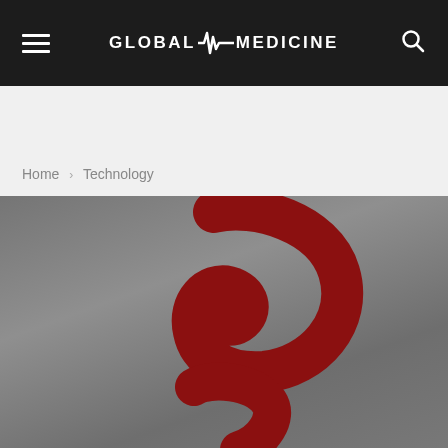GLOBAL MEDICINE
Home › Technology
[Figure (logo): Airtel telecom logo — a stylized red swoosh/spiral shape on a gray background, partially cropped at bottom]